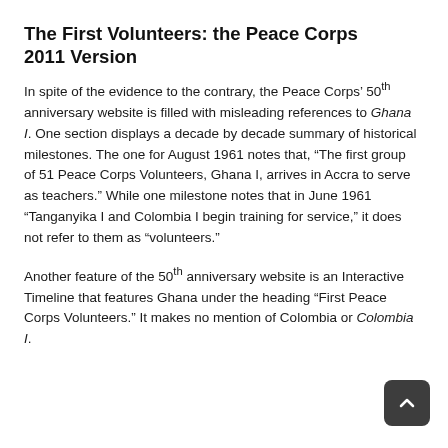The First Volunteers: the Peace Corps 2011 Version
In spite of the evidence to the contrary, the Peace Corps' 50th anniversary website is filled with misleading references to Ghana I. One section displays a decade by decade summary of historical milestones. The one for August 1961 notes that, “The first group of 51 Peace Corps Volunteers, Ghana I, arrives in Accra to serve as teachers.” While one milestone notes that in June 1961 “Tanganyika I and Colombia I begin training for service,” it does not refer to them as “volunteers.”
Another feature of the 50th anniversary website is an Interactive Timeline that features Ghana under the heading “First Peace Corps Volunteers.” It makes no mention of Colombia or Colombia I.